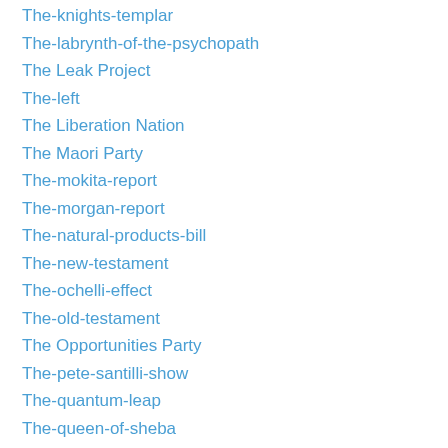The-knights-templar
The-labrynth-of-the-psychopath
The Leak Project
The-left
The Liberation Nation
The Maori Party
The-mokita-report
The-morgan-report
The-natural-products-bill
The-new-testament
The-ochelli-effect
The-old-testament
The Opportunities Party
The-pete-santilli-show
The-quantum-leap
The-queen-of-sheba
The Quite Frankly Podcast
The-real-jesus
Thermate
These-changing-timez-radio
The-second-chance